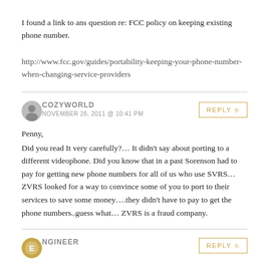I found a link to ans question re: FCC policy on keeping existing phone number.
http://www.fcc.gov/guides/portability-keeping-your-phone-number-when-changing-service-providers
COZYWORLD
NOVEMBER 26, 2011 @ 10:41 PM
Penny,
Did you read It very carefully?… It didn't say about porting to a different videophone. Did you know that in a past Sorenson had to pay for getting new phone numbers for all of us who use SVRS…ZVRS looked for a way to convince some of you to port to their services to save some money….they didn't have to pay to get the phone numbers..guess what… ZVRS is a fraud company.
NGINEER